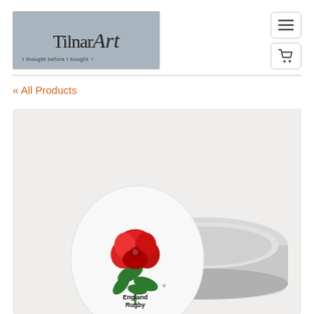[Figure (logo): Tilnar Art logo on grey background with tagline 'I thought before I bought']
[Figure (other): Hamburger menu icon button]
[Figure (other): Shopping cart icon button]
« All Products
[Figure (photo): England Rugby tin/trinket box with white oval lid showing the England Rugby red rose logo and text 'England Rugby', lid resting against open silver metal tin bowl on white background]